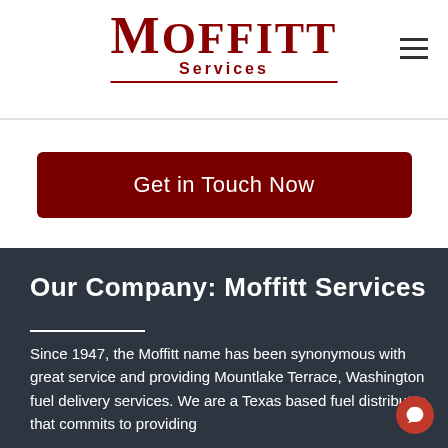[Figure (logo): Moffitt Services logo in dark red serif font with 'Services' subtitle and underline]
Get in Touch Now
Our Company: Moffitt Services
Since 1947, the Moffitt name has been synonymous with great service and providing Mountlake Terrace, Washington fuel delivery services. We are a Texas based fuel distributor that commits to providing quality fuel delivery services.